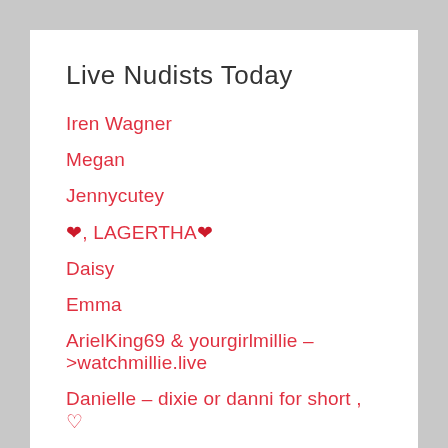Live Nudists Today
Iren Wagner
Megan
Jennycutey
❤, LAGERTHA❤
Daisy
Emma
ArielKing69 & yourgirlmillie –>watchmillie.live
Danielle – dixie or danni for short , ♡
Ami
Lisa